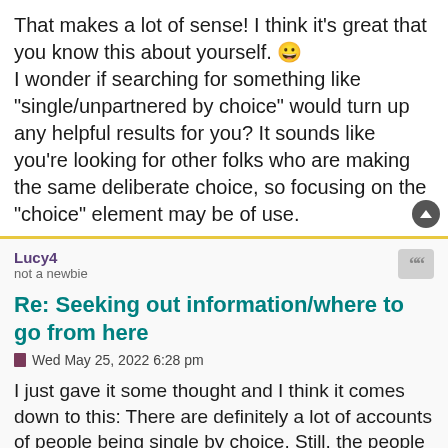That makes a lot of sense! I think it's great that you know this about yourself. 😀 I wonder if searching for something like "single/unpartnered by choice" would turn up any helpful results for you? It sounds like you're looking for other folks who are making the same deliberate choice, so focusing on the "choice" element may be of use.
Lucy4
not a newbie
Re: Seeking out information/where to go from here
Wed May 25, 2022 6:28 pm
I just gave it some thought and I think it comes down to this: There are definitely a lot of accounts of people being single by choice. Still, the people in them have chosen this path after having experienced something like dating or serious relationships. I can relate to enjoying a chosen lifestyle, but I feel there is a definite difference bet...